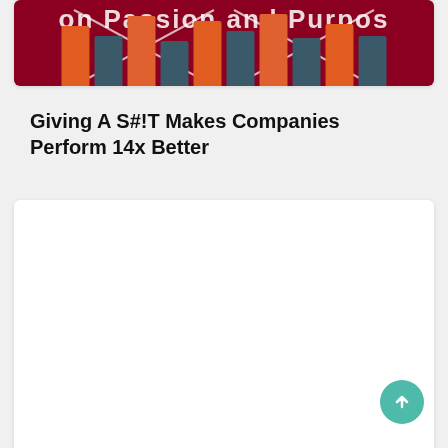[Figure (illustration): Partial banner image with dark red background, colorful vertical bars (orange, dark teal, orange alternating), white diagonal cross lines, and partially visible white text reading 'on Passion and Purpos']
Giving A S#!T Makes Companies Perform 14x Better
[Figure (screenshot): White card/panel area below the title, mostly empty white space representing a content area of a webpage]
[Figure (other): Teal circular scroll-to-top button with upward arrow icon in the bottom right corner]